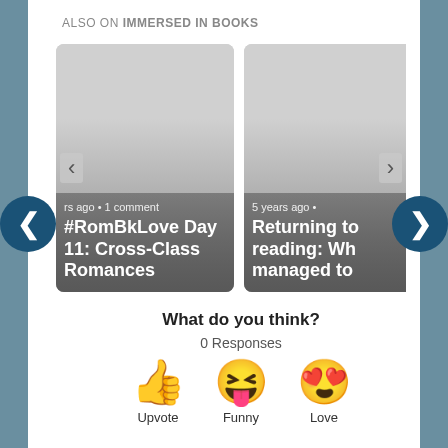ALSO ON IMMERSED IN BOOKS
[Figure (screenshot): Two article cards: 1) '#RomBkLove Day 11: Cross-Class Romances' with meta 'rs ago • 1 comment'; 2) 'Returning to reading: Wh managed to' with meta '5 years ago •']
What do you think?
0 Responses
[Figure (infographic): Three reaction buttons: Upvote (thumbs up emoji), Funny (laughing emoji with tongue), Love (heart eyes emoji)]